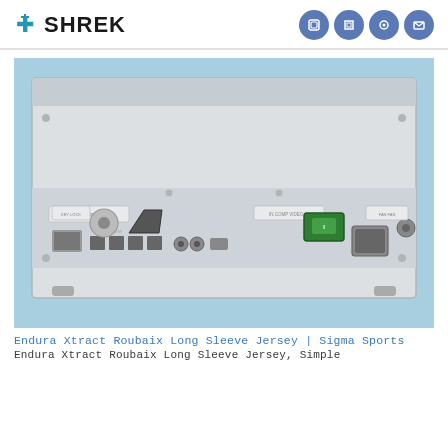SHREK
[Figure (photo): Back panel of a white medical/electronic rack-mount device showing ports including VGA, HDMI ports, connectors, a green power switch, power inlet, and various other ports on a light blue background]
Endura Xtract Roubaix Long Sleeve Jersey | Sigma Sports
Endura Xtract Roubaix Long Sleeve Jersey, Simple